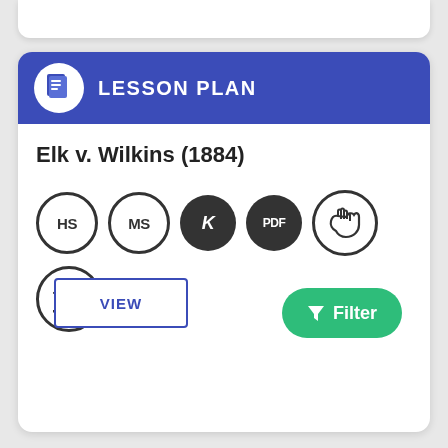LESSON PLAN
Elk v. Wilkins (1884)
[Figure (infographic): Row of badge icons: HS (outline circle), MS (outline circle), K (filled circle), PDF (filled circle), hand gesture (outline circle); second row: Greek column/temple icon (outline circle)]
VIEW
Filter